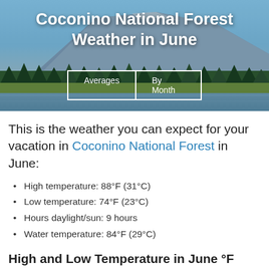[Figure (photo): Mountain landscape with blue sky, pine trees, and lake/water in foreground. Coconino National Forest scenery.]
Coconino National Forest Weather in June
Averages | By Month (navigation buttons)
This is the weather you can expect for your vacation in Coconino National Forest in June:
High temperature: 88°F (31°C)
Low temperature: 74°F (23°C)
Hours daylight/sun: 9 hours
Water temperature: 84°F (29°C)
High and Low Temperature in June °F